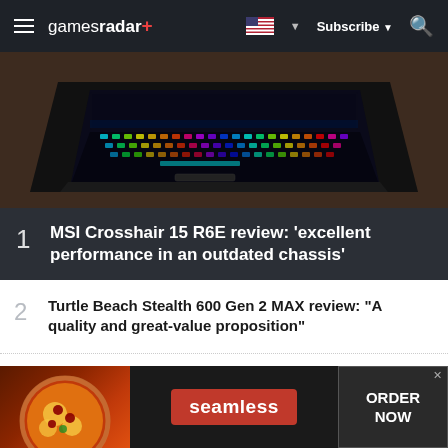gamesradar+ | Subscribe | Search
[Figure (photo): Gaming laptop with RGB backlit keyboard photographed from above at an angle on a wooden surface]
1 MSI Crosshair 15 R6E review: 'excellent performance in an outdated chassis'
2 Turtle Beach Stealth 600 Gen 2 MAX review: "A quality and great-value proposition"
3 Turtle Beach Stealth 700 Gen 2 MAX review: "Easy to recommend"
[Figure (screenshot): Seamless food delivery advertisement banner with pizza image, red Seamless button, and ORDER NOW button]